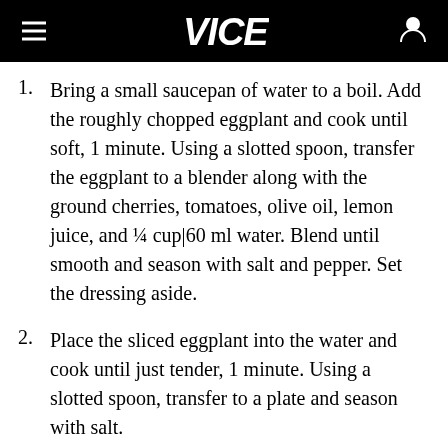VICE
Bring a small saucepan of water to a boil. Add the roughly chopped eggplant and cook until soft, 1 minute. Using a slotted spoon, transfer the eggplant to a blender along with the ground cherries, tomatoes, olive oil, lemon juice, and ¼ cup|60 ml water. Blend until smooth and season with salt and pepper. Set the dressing aside.
Place the sliced eggplant into the water and cook until just tender, 1 minute. Using a slotted spoon, transfer to a plate and season with salt.